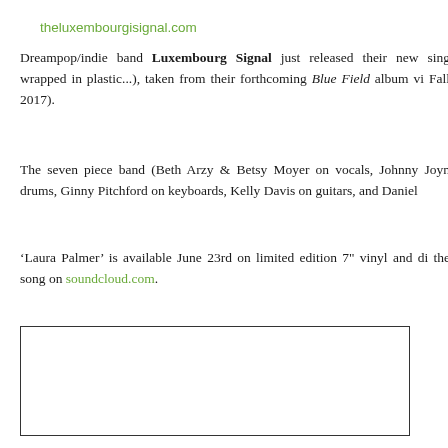theluxembourgisignal.com
Dreampop/indie band Luxembourg Signal just released their new sing wrapped in plastic...), taken from their forthcoming Blue Field album vi Fall 2017).
The seven piece band (Beth Arzy & Betsy Moyer on vocals, Johnny Joyn drums, Ginny Pitchford on keyboards, Kelly Davis on guitars, and Daniel
‘Laura Palmer’ is available June 23rd on limited edition 7" vinyl and di the song on soundcloud.com.
[Figure (other): Empty bordered rectangle, likely placeholder for an image]